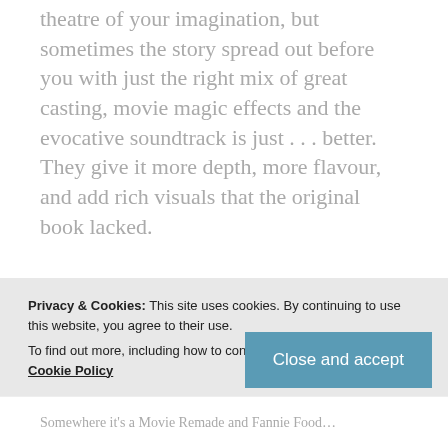theatre of your imagination, but sometimes the story spread out before you with just the right mix of great casting, movie magic effects and the evocative soundtrack is just . . . better. They give it more depth, more flavour, and add rich visuals that the original book lacked.
I would argue that these 9 movie adaptations do justice to their literary counterparts, staying true to the source while improving the look and conveying a great story. *warning, a few minor
Privacy & Cookies: This site uses cookies. By continuing to use this website, you agree to their use.
To find out more, including how to control cookies, see here: Our Cookie Policy
Close and accept
Somewhere it's a Movie Remade and Fannie Food...